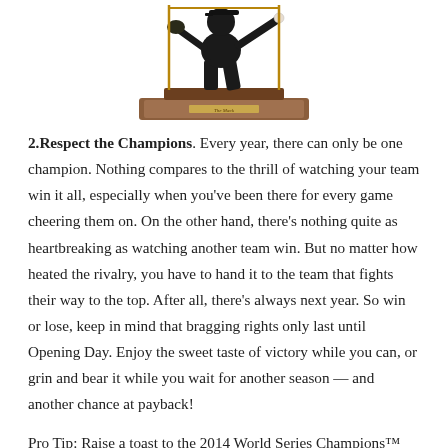[Figure (photo): A bronze statue figurine of a baseball player pitching, mounted on a wooden base with a gold nameplate reading 'The Mack', partially cropped at top of page.]
2.Respect the Champions. Every year, there can only be one champion. Nothing compares to the thrill of watching your team win it all, especially when you've been there for every game cheering them on. On the other hand, there's nothing quite as heartbreaking as watching another team win. But no matter how heated the rivalry, you have to hand it to the team that fights their way to the top. After all, there's always next year. So win or lose, keep in mind that bragging rights only last until Opening Day. Enjoy the sweet taste of victory while you can, or grin and bear it while you wait for another season — and another chance at payback!
Pro Tip: Raise a toast to the 2014 World Series Champions™ with our San Francisco Giants™ 2014 World Series® Stein — and savor the memory of your